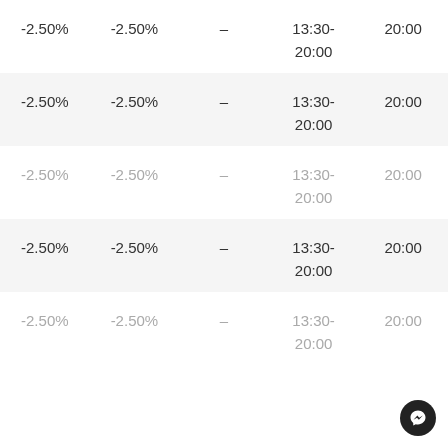| -2.50% | -2.50% | – | 13:30-20:00 | 20:00 |
| -2.50% | -2.50% | – | 13:30-20:00 | 20:00 |
| -2.50% | -2.50% | – | 13:30-20:00 | 20:00 |
| -2.50% | -2.50% | – | 13:30-20:00 | 20:00 |
| -2.50% | -2.50% | – | 13:30-20:00 | 20:00 |